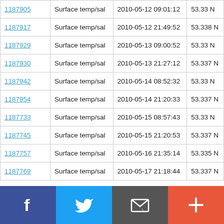| ID | Type | Date/Time | Lat |
| --- | --- | --- | --- |
| 1187905 | Surface temp/sal | 2010-05-12 09:01:12 | 53.33 N |
| 1187917 | Surface temp/sal | 2010-05-12 21:49:52 | 53.338 N |
| 1187929 | Surface temp/sal | 2010-05-13 09:00:52 | 53.33 N |
| 1187930 | Surface temp/sal | 2010-05-13 21:27:12 | 53.337 N |
| 1187942 | Surface temp/sal | 2010-05-14 08:52:32 | 53.33 N |
| 1187954 | Surface temp/sal | 2010-05-14 21:20:33 | 53.337 N |
| 1187733 | Surface temp/sal | 2010-05-15 08:57:43 | 53.33 N |
| 1187745 | Surface temp/sal | 2010-05-15 21:20:53 | 53.337 N |
| 1187757 | Surface temp/sal | 2010-05-16 21:35:14 | 53.335 N |
| 1187769 | Surface temp/sal | 2010-05-17 21:18:44 | 53.337 N |
Social share bar: Facebook, Twitter, Mail, Plus